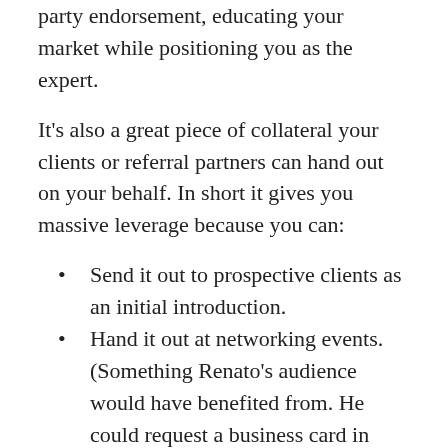party endorsement, educating your market while positioning you as the expert.
It’s also a great piece of collateral your clients or referral partners can hand out on your behalf. In short it gives you massive leverage because you can:
Send it out to prospective clients as an initial introduction.
Hand it out at networking events. (Something Renato’s audience would have benefited from. He could request a business card in exchange – then put these people onto his follow up, keep in touch list. Who knows when they may want a mortgage or even refer someone on.)
If you’re a speaker, offer it to attendees in